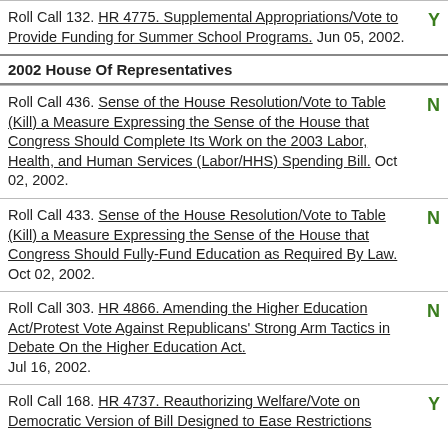Roll Call 132. HR 4775. Supplemental Appropriations/Vote to Provide Funding for Summer School Programs. Jun 05, 2002. Y
2002 House Of Representatives
Roll Call 436. Sense of the House Resolution/Vote to Table (Kill) a Measure Expressing the Sense of the House that Congress Should Complete Its Work on the 2003 Labor, Health, and Human Services (Labor/HHS) Spending Bill. Oct 02, 2002. N
Roll Call 433. Sense of the House Resolution/Vote to Table (Kill) a Measure Expressing the Sense of the House that Congress Should Fully-Fund Education as Required By Law. Oct 02, 2002. N
Roll Call 303. HR 4866. Amending the Higher Education Act/Protest Vote Against Republicans' Strong Arm Tactics in Debate On the Higher Education Act. Jul 16, 2002. N
Roll Call 168. HR 4737. Reauthorizing Welfare/Vote on Democratic Version of Bill Designed to Ease Restrictions Y